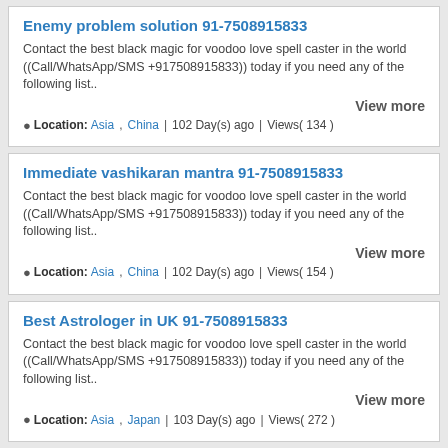Enemy problem solution 91-7508915833
Contact the best black magic for voodoo love spell caster in the world ((Call/WhatsApp/SMS +917508915833)) today if you need any of the following list..
View more
Location: Asia , China | 102 Day(s) ago | Views( 134 )
Immediate vashikaran mantra 91-7508915833
Contact the best black magic for voodoo love spell caster in the world ((Call/WhatsApp/SMS +917508915833)) today if you need any of the following list..
View more
Location: Asia , China | 102 Day(s) ago | Views( 154 )
Best Astrologer in UK 91-7508915833
Contact the best black magic for voodoo love spell caster in the world ((Call/WhatsApp/SMS +917508915833)) today if you need any of the following list..
View more
Location: Asia , Japan | 103 Day(s) ago | Views( 272 )